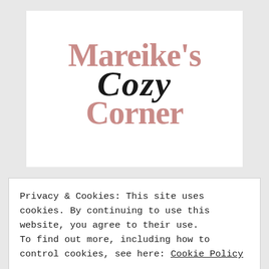[Figure (logo): Mareike's Cozy Corner logo — 'Mareike's' and 'Corner' in dusty rose serif bold, 'Cozy' in black italic script, on white background]
Privacy & Cookies: This site uses cookies. By continuing to use this website, you agree to their use. To find out more, including how to control cookies, see here: Cookie Policy
CLOSE AND ACCEPT